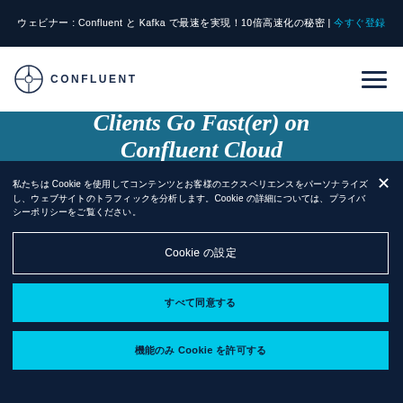ウェビナー : Confluent と Kafka で最速を実現！10倍高速化の秘密 | 今すぐ登録
[Figure (logo): Confluent logo with compass-style circle icon and CONFLUENT wordmark]
Clients Go Fast(er) on Confluent Cloud
私たちは Cookie を使用してコンテンツとお客様のエクスペリエンスをパーソナライズし、ウェブサイトのトラフィックを分析します。Cookie の詳細については、プライバシーポリシーをご覧ください。
Cookie の設定
すべて同意する
機能のみ Cookie を許可する